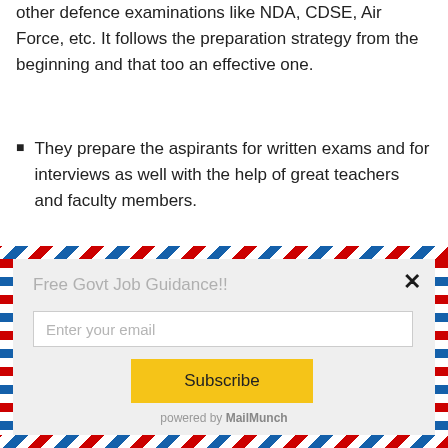other defence examinations like NDA, CDSE, Air Force, etc. It follows the preparation strategy from the beginning and that too an effective one.
They prepare the aspirants for written exams and for interviews as well with the help of great teachers and faculty members.
Contact Details and Address
[Figure (screenshot): Email subscription popup modal with air-mail style striped border. Contains 'Free Govt Job Guidance!!' label, email input field, Subscribe button, and 'powered by MailMunch' footer. Close (x) button in top right.]